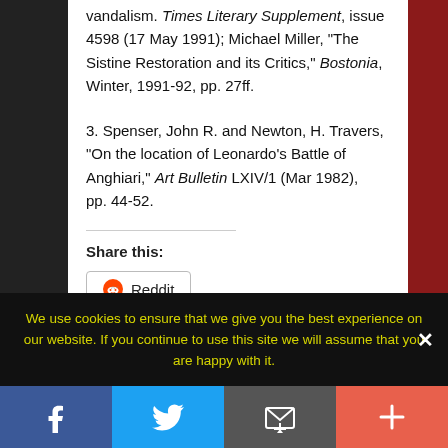vandalism. Times Literary Supplement, issue 4598 (17 May 1991); Michael Miller, “The Sistine Restoration and its Critics,” Bostonia, Winter, 1991-92, pp. 27ff.
3. Spenser, John R. and Newton, H. Travers, “On the location of Leonardo’s Battle of Anghiari,” Art Bulletin LXIV/1 (Mar 1982), pp. 44-52.
Share this:
Reddit
We use cookies to ensure that we give you the best experience on our website. If you continue to use this site we will assume that you are happy with it.